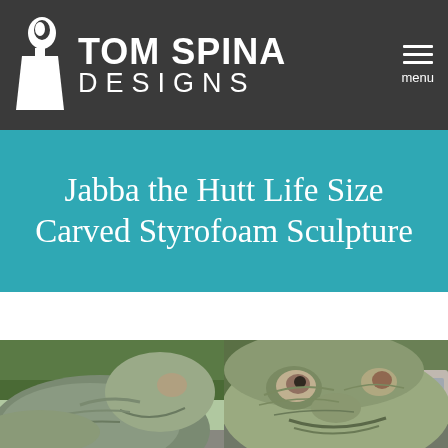Tom Spina Designs — menu
Jabba the Hutt Life Size Carved Styrofoam Sculpture
[Figure (photo): Two side-by-side photographs of a life-size carved styrofoam Jabba the Hutt sculpture outdoors. Left photo shows the body/profile view; right photo shows a close-up of the face with detailed texture and wrinkles.]